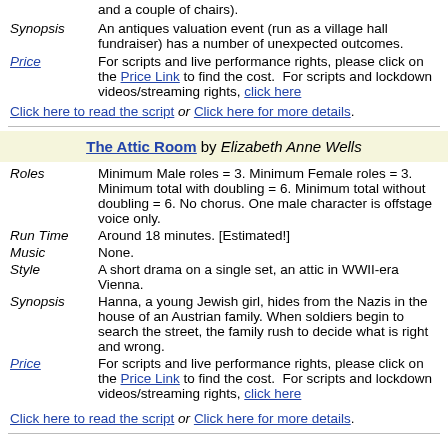and a couple of chairs).
Synopsis: An antiques valuation event (run as a village hall fundraiser) has a number of unexpected outcomes.
Price: For scripts and live performance rights, please click on the Price Link to find the cost. For scripts and lockdown videos/streaming rights, click here
Click here to read the script or Click here for more details.
The Attic Room by Elizabeth Anne Wells
Roles: Minimum Male roles = 3. Minimum Female roles = 3. Minimum total with doubling = 6. Minimum total without doubling = 6. No chorus. One male character is offstage voice only.
Run Time: Around 18 minutes. [Estimated!]
Music: None.
Style: A short drama on a single set, an attic in WWII-era Vienna.
Synopsis: Hanna, a young Jewish girl, hides from the Nazis in the house of an Austrian family. When soldiers begin to search the street, the family rush to decide what is right and wrong.
Price: For scripts and live performance rights, please click on the Price Link to find the cost. For scripts and lockdown videos/streaming rights, click here
Click here to read the script or Click here for more details.